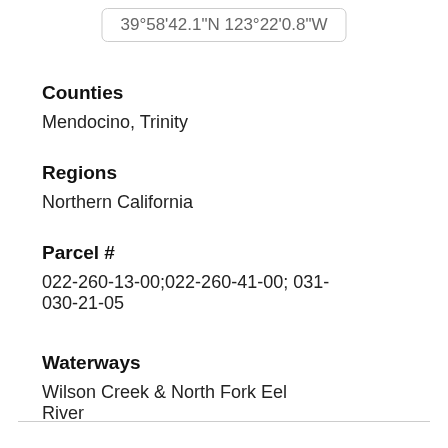39°58'42.1"N 123°22'0.8"W
Counties
Mendocino, Trinity
Regions
Northern California
Parcel #
022-260-13-00;022-260-41-00; 031-030-21-05
Waterways
Wilson Creek & North Fork Eel River